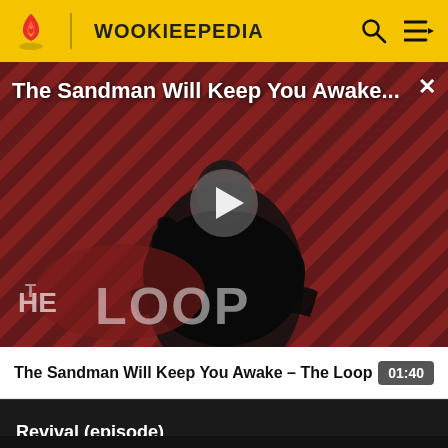WOOKIEEPEDIA
[Figure (screenshot): Video player showing 'The Sandman Will Keep You Awake...' with a figure in black costume against a diagonal striped red/dark background, with 'THE LOOP' text visible. A play button triangle is shown in the center.]
The Sandman Will Keep You Awake - The Loop  01:40
Revival (episode)
Wookieepedia